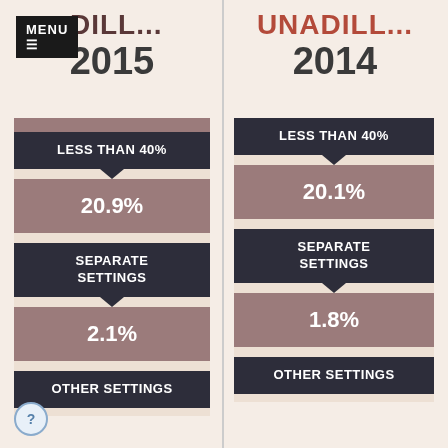DILL... 2015
[Figure (infographic): Left infographic panel showing 2015 data: LESS THAN 40% label, 20.9% value, SEPARATE SETTINGS label, 2.1% value, OTHER SETTINGS label (cut off)]
UNADILL... 2014
[Figure (infographic): Right infographic panel showing 2014 data: LESS THAN 40% label, 20.1% value, SEPARATE SETTINGS label, 1.8% value, OTHER SETTINGS label]